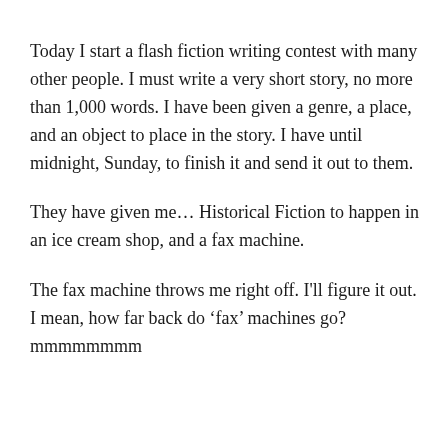Today I start a flash fiction writing contest with many other people.  I must write a very short story, no more than 1,000 words.  I have been given a genre, a place, and an object to place in the story.  I have until midnight, Sunday, to finish it and send it out to them.
They have given me… Historical Fiction to happen in an ice cream shop, and a fax machine.
The fax machine throws me right off.  I'll figure it out.   I mean, how far back do 'fax' machines go?  mmmmmmmm